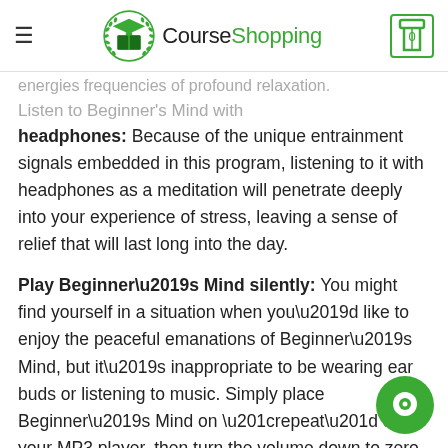CourseShopping
headphones: Because of the unique entrainment signals embedded in this program, listening to it with headphones as a meditation will penetrate deeply into your experience of stress, leaving a sense of relief that will last long into the day.
Play Beginner’s Mind silently: You might find yourself in a situation when you’d like to enjoy the peaceful emanations of Beginner’s Mind, but it’s inappropriate to be wearing ear buds or listening to music. Simply place Beginner’s Mind on “repeat” on your MP3 player, then turn the volume down to zero and don’t worry about using your ear buds at all, to the powerful biofield (subtle energetic) entrainment